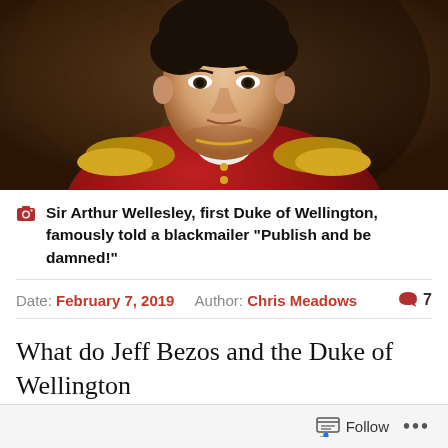[Figure (photo): Portrait painting of Sir Arthur Wellesley, first Duke of Wellington, in red military uniform with gold epaulettes]
Sir Arthur Wellesley, first Duke of Wellington, famously told a blackmailer "Publish and be damned!"
Date: February 7, 2019   Author: Chris Meadows   7
What do Jeff Bezos and the Duke of Wellington have in common? They both...